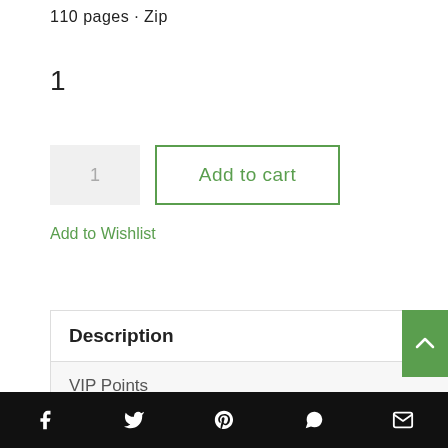110 pages · Zip
1
Add to cart
Add to Wishlist
Description
VIP Points
Preview
Reviews (0)